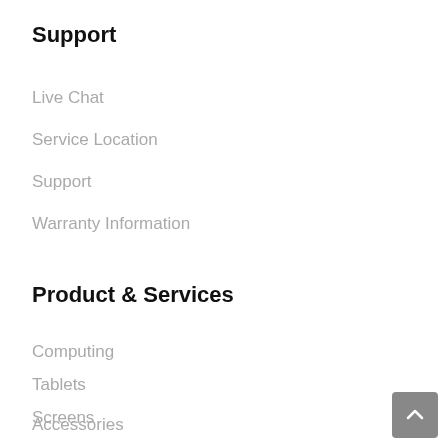Support
Live Chat
Service Location
Support
Warranty Information
Product & Services
Computing
Tablets
Screens
Accessories